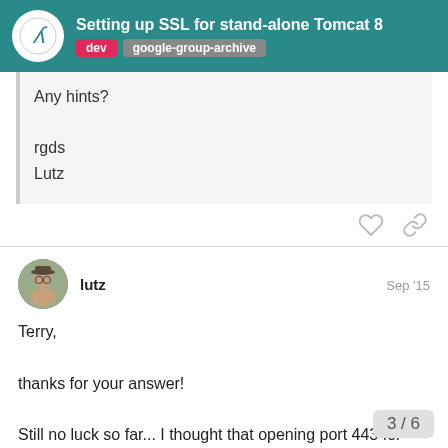Setting up SSL for stand-alone Tomcat 8 | dev | google-group-archive
Any hints?

rgds
Lutz
lutz  Sep '15

Terry,

thanks for your answer!

Still no luck so far... I thought that opening port 443 for outbound
traffic in the firewall might be the thing I had overlooked, but it doesn't
seem to make a difference yet
3 / 6